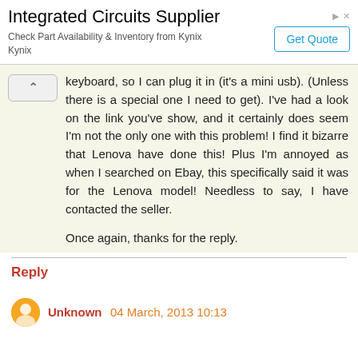[Figure (other): Advertisement banner for Integrated Circuits Supplier (Kynix) with a 'Get Quote' button]
keyboard, so I can plug it in (it's a mini usb). (Unless there is a special one I need to get). I've had a look on the link you've show, and it certainly does seem I'm not the only one with this problem! I find it bizarre that Lenova have done this! Plus I'm annoyed as when I searched on Ebay, this specifically said it was for the Lenova model! Needless to say, I have contacted the seller.

Once again, thanks for the reply.
Reply
Unknown 04 March, 2013 10:13